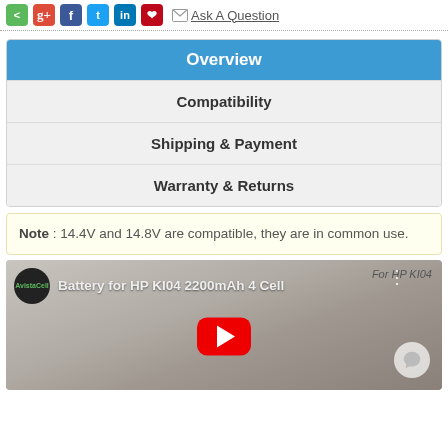Ask A Question (social share icons: share, g+, facebook, twitter, linkedin, pinterest, email)
Overview
Compatibility
Shipping & Payment
Warranty & Returns
Note : 14.4V and 14.8V are compatible, they are in common use.
[Figure (screenshot): YouTube video thumbnail for 'Battery for HP KI04 2200mAh 4 Cell' with a play button overlay, showing a hand holding a battery, with channel icon and 'For HP KI04' label.]